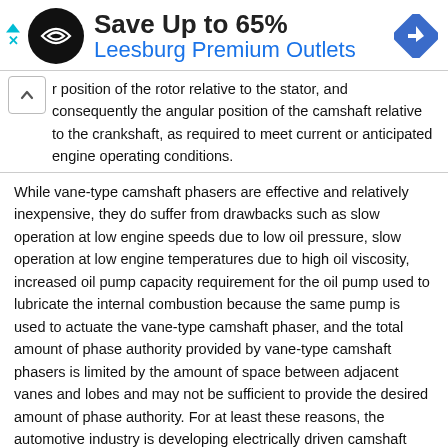[Figure (infographic): Advertisement banner: Save Up to 65% Leesburg Premium Outlets with logo and navigation icon]
r position of the rotor relative to the stator, and consequently the angular position of the camshaft relative to the crankshaft, as required to meet current or anticipated engine operating conditions.
While vane-type camshaft phasers are effective and relatively inexpensive, they do suffer from drawbacks such as slow operation at low engine speeds due to low oil pressure, slow operation at low engine temperatures due to high oil viscosity, increased oil pump capacity requirement for the oil pump used to lubricate the internal combustion because the same pump is used to actuate the vane-type camshaft phaser, and the total amount of phase authority provided by vane-type camshaft phasers is limited by the amount of space between adjacent vanes and lobes and may not be sufficient to provide the desired amount of phase authority. For at least these reasons, the automotive industry is developing electrically driven camshaft phasers.
One type of electrically driven camshaft phaser being developed uses a harmonic gear drive unit, actuated by an electric motor, to change the angular position of the camshaft relative to the crankshaft. One example of such a camshaft phaser is shown in United States Patent Application